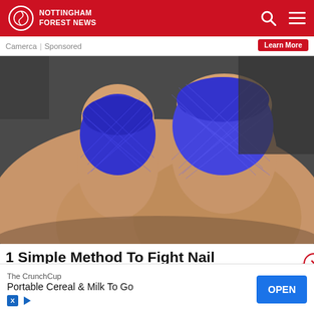Nottingham Forest News
Camerca | Sponsored
[Figure (photo): Close-up photo of two toes wrapped with blue mesh/elastic bandage material, showing nail fungus treatment context. The toes appear to be big toe and adjacent toe, with bright blue bandaging covering the nails.]
1 Simple Method To Fight Nail Fungus (Try Tonight)
The CrunchCup
Portable Cereal & Milk To Go